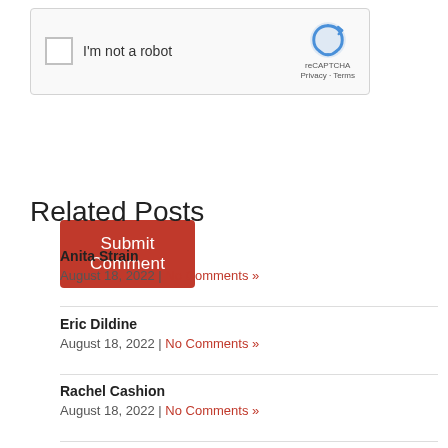[Figure (screenshot): reCAPTCHA widget with checkbox labeled 'I'm not a robot' and reCAPTCHA logo with Privacy - Terms links]
Submit Comment
Related Posts
Anita Strain
August 18, 2022 | No Comments »
Eric Dildine
August 18, 2022 | No Comments »
Rachel Cashion
August 18, 2022 | No Comments »